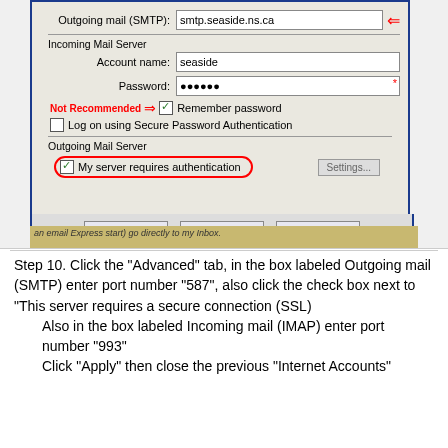[Figure (screenshot): Windows email client dialog box showing Outgoing mail (SMTP) field with smtp.seaside.ns.ca, Incoming Mail Server section with Account name: seaside, Password: dots, Not Recommended label with arrow to checked Remember password checkbox, unchecked Log on using Secure Password Authentication, Outgoing Mail Server section with circled checked My server requires authentication checkbox and Settings button, plus OK, Cancel, Apply buttons at bottom]
Step 10. Click the "Advanced" tab, in the box labeled Outgoing mail (SMTP) enter port number "587", also click the check box next to "This server requires a secure connection (SSL)
    Also in the box labeled Incoming mail (IMAP) enter port number "993"
    Click "Apply" then close the previous "Internet Accounts"